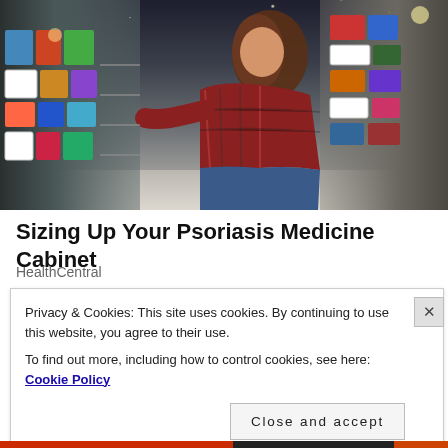[Figure (photo): A woman in a red plaid flannel shirt and jeans crouching down in a store aisle, examining a product from a shelf. The aisle is lined with products on both sides. Overhead bokeh lights visible in the background.]
Sizing Up Your Psoriasis Medicine Cabinet
HealthCentral
Privacy & Cookies: This site uses cookies. By continuing to use this website, you agree to their use.
To find out more, including how to control cookies, see here: Cookie Policy
Close and accept